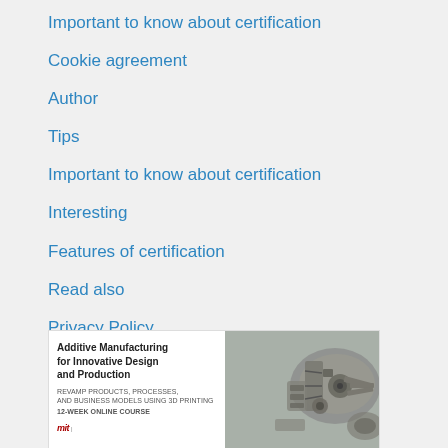Important to know about certification
Cookie agreement
Author
Tips
Important to know about certification
Interesting
Features of certification
Read also
Privacy Policy
[Figure (advertisement): Advertisement for 'Additive Manufacturing for Innovative Design and Production' 12-week online course with a 3D-printed mechanical component image and MIT logo]